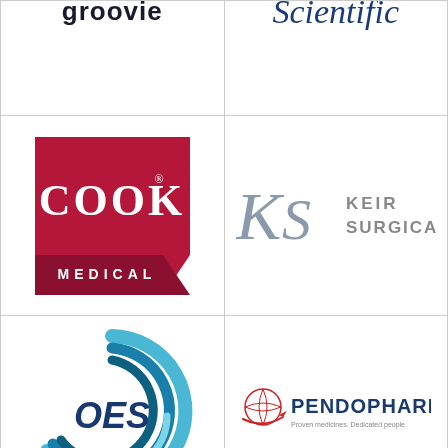[Figure (logo): Partial logo - appears to show 'groovie' or similar text, cropped at top]
[Figure (logo): Scientific logo in dark blue italic serif font, partially cropped at top]
[Figure (logo): Cook Medical logo - red/crimson background with white bold text 'COOK' and 'MEDICAL' below]
[Figure (logo): Keir Surgical logo - stylized 'KS' monogram in grey with 'KEIR SURGICAL' text]
[Figure (logo): OES logo - circular teal/blue swoosh design with 'OES' text in navy blue]
[Figure (logo): Pendopharm logo - globe icon in red with 'PENDOPHARM' in dark blue, tagline 'Proven medicines. Dedicated people.']
[Figure (logo): Bottom row left cell - partially visible, cropped]
[Figure (logo): Bottom row right cell - partially visible, cropped]